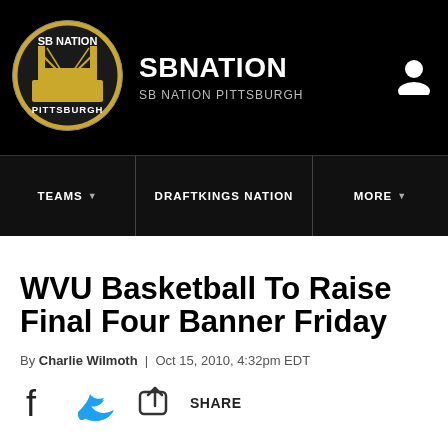SB NATION / SB NATION PITTSBURGH
[Figure (logo): SB Nation Pittsburgh circular logo]
WVU Basketball To Raise Final Four Banner Friday
By Charlie Wilmoth | Oct 15, 2010, 4:32pm EDT
[Figure (infographic): Social share bar with Facebook, Twitter, and share icons]